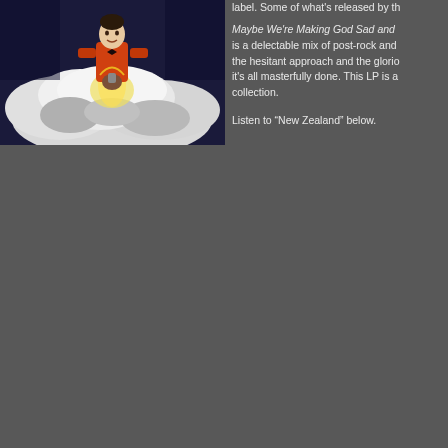[Figure (illustration): Album artwork showing a man in an orange/red suit jacket with dark hair standing amid billowing white clouds against a dark blue background, holding something in his hands with light emanating below]
label. Some of what's released by th
Maybe We're Making God Sad and is a delectable mix of post-rock and the hesitant approach and the glorio it's all masterfully done. This LP is a collection.
Listen to “New Zealand” below.